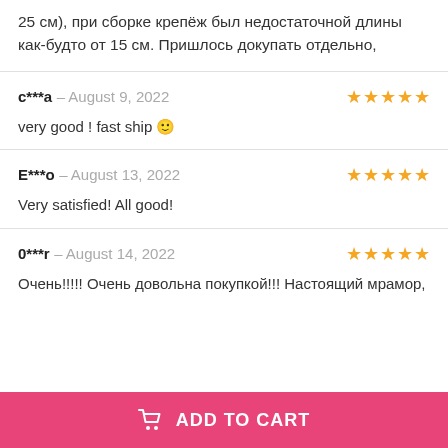25 см), при сборке крепёж был недостаточной длины как-будто от 15 см. Пришлось докупать отдельно,
c***a – August 9, 2022 ★★★★★
very good ! fast ship 🙂
E***o – August 13, 2022 ★★★★★
Very satisfied! All good!
0***r – August 14, 2022 ★★★★★
Очень!!!!! Очень довольна покупкой!!! Настоящий мрамор,
ADD TO CART